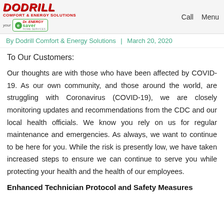Dodrill Comfort & Energy Solutions | Dr. Energy Saver | Call | Menu
By Dodrill Comfort & Energy Solutions | March 20, 2020
To Our Customers:
Our thoughts are with those who have been affected by COVID-19. As our own community, and those around the world, are struggling with Coronavirus (COVID-19), we are closely monitoring updates and recommendations from the CDC and our local health officials. We know you rely on us for regular maintenance and emergencies. As always, we want to continue to be here for you. While the risk is presently low, we have taken increased steps to ensure we can continue to serve you while protecting your health and the health of our employees.
Enhanced Technician Protocol and Safety Measures